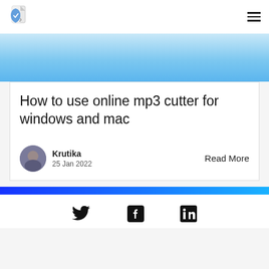Logo and navigation header
[Figure (illustration): Light blue gradient hero banner]
How to use online mp3 cutter for windows and mac
Krutika
25 Jan 2022
Read More
[Figure (illustration): Blue gradient horizontal bar]
[Figure (illustration): Social media icons: Twitter, Facebook, LinkedIn]